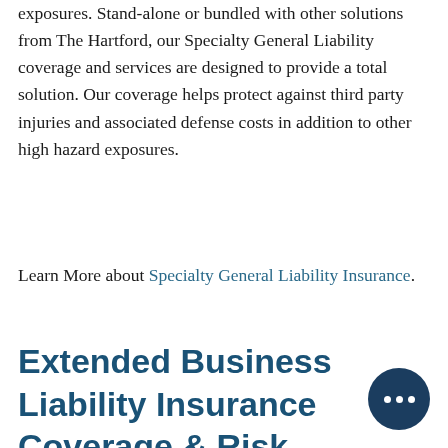exposures. Stand-alone or bundled with other solutions from The Hartford, our Specialty General Liability coverage and services are designed to provide a total solution. Our coverage helps protect against third party injuries and associated defense costs in addition to other high hazard exposures.
Learn More about Specialty General Liability Insurance.
Extended Business Liability Insurance Coverage & Risk Engineering